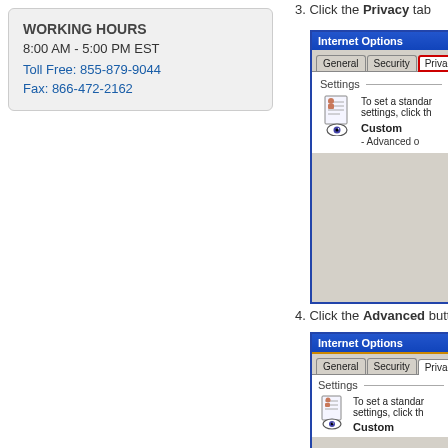WORKING HOURS
8:00 AM - 5:00 PM EST
Toll Free: 855-879-9044
Fax: 866-472-2162
3. Click the Privacy tab
[Figure (screenshot): Internet Options dialog screenshot showing General, Security, Privacy tabs with Privacy tab highlighted in red border. Settings section shows a document/eye icon with text 'To set a standard settings, click the' and shows 'Custom' in bold and '- Advanced o' text.]
4. Click the Advanced button
[Figure (screenshot): Internet Options dialog screenshot showing General, Security, Privacy tabs. Settings section shows a document/eye icon with text 'To set a standard settings, click the' and shows 'Custom' in bold.]